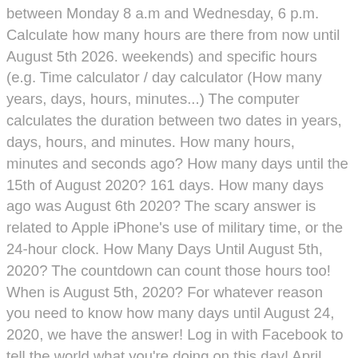between Monday 8 a.m and Wednesday, 6 p.m. Calculate how many hours are there from now until August 5th 2026. weekends) and specific hours (e.g. Time calculator / day calculator (How many years, days, hours, minutes...) The computer calculates the duration between two dates in years, days, hours, and minutes. How many hours, minutes and seconds ago? How many days until the 15th of August 2020? 161 days. How many days ago was August 6th 2020? The scary answer is related to Apple iPhone's use of military time, or the 24-hour clock. How Many Days Until August 5th, 2020? The countdown can count those hours too! When is August 5th, 2020? For whatever reason you need to know how many days until August 24, 2020, we have the answer! Log in with Facebook to tell the world what you're doing on this day! April includes 30 days and 720 hours. 5 months. 21 weeks. 144 days. Thanksgivings Day 2020: 2020-11-26 Christmas Day 2020 : 2020-12-25 From Wednesday, January 1, 2020 to Thursday, December 31, 2020 included, there are: How Many